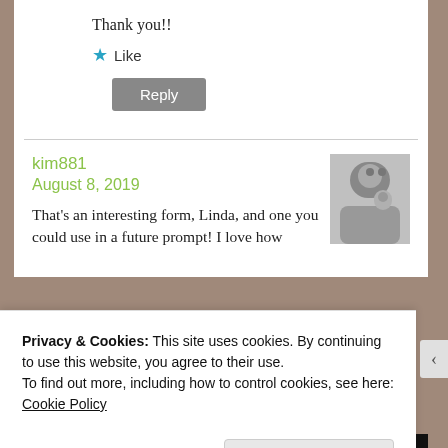Thank you!!
★ Like
Reply
kim881
August 8, 2019
[Figure (photo): Small grayscale photo of two people]
That's an interesting form, Linda, and one you could use in a future prompt! I love how
Privacy & Cookies: This site uses cookies. By continuing to use this website, you agree to their use.
To find out more, including how to control cookies, see here: Cookie Policy
Close and accept